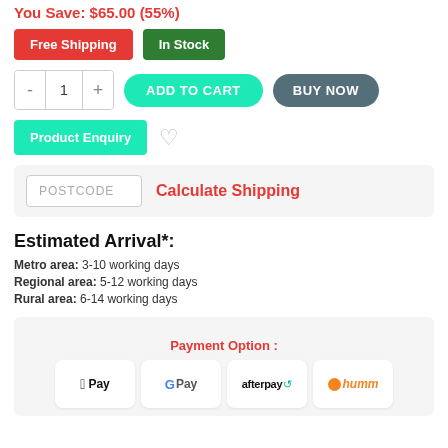You Save: $65.00 (55%)
Free Shipping   In Stock
ADD TO CART   BUY NOW
Product Enquiry
POSTCODE   Calculate Shipping
Estimated Arrival*:
Metro area: 3-10 working days
Regional area: 5-12 working days
Rural area: 6-14 working days
Payment Option :
[Figure (infographic): Payment logos: Apple Pay, Google Pay, Afterpay, Humm]